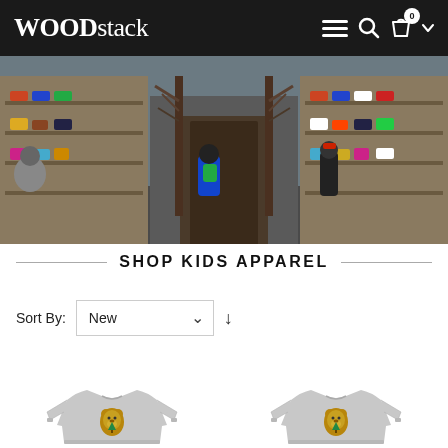WOODstack
[Figure (photo): Interior of WOODstack store showing shelves with sneakers and accessories, bare tree decorations in the center, colorful wall art, and customers browsing.]
SHOP KIDS APPAREL
Sort By: New ↓
[Figure (photo): Grey sweatshirt with bear graphic on the front.]
[Figure (photo): Grey sweatshirt with bear graphic on the front.]